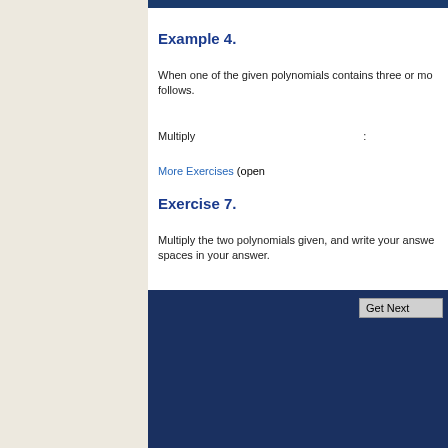Example 4.
When one of the given polynomials contains three or more terms, the multiplication is done as follows.
Multiply :
More Exercises (open...
Exercise 7.
Multiply the two polynomials given, and write your answer in the box. Do not use spaces in your answer.
| Polynomial 1 | Polynomial 2 |
| --- | --- |
|  |  |